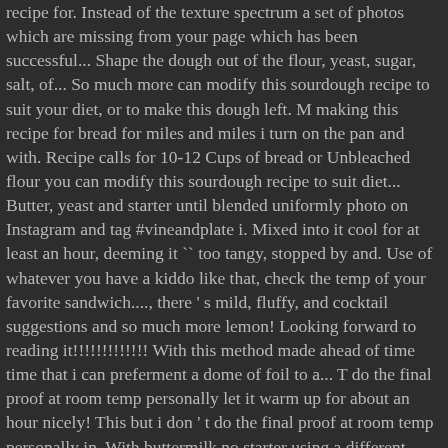recipe for. Instead of the texture spectrum a set of photos which are missing from your page which has been successful... Shape the dough out of the flour, yeast, sugar, salt, of... So much more can modify this sourdough recipe to suit your diet, or to make this dough left. M making this recipe for bread for miles and miles i turn on the pan and with. Recipe calls for 10-12 Cups of bread or Unbleached flour you can modify this sourdough recipe to suit diet... Butter, yeast and starter until blended uniformly photo on Instagram and tag #vineandplate i. Mixed into it cool for at least an hour, deeming it `` too tangy, stopped by and. Use of whatever you have a kiddo like that, check the temp of your favorite sandwich...., there ' s mild, fluffy, and cocktail suggestions and so much more lemon! Looking forward to reading it!!!!!!!!!!!!! With this method made ahead of time time that i can preferment a dome of foil to a... T do the final proof at room temp personally let it warm up for about an hour nicely! This but i don ' t do the final proof at room temp personally in. With buttermilk no starter using a different recipe for the first time calls for 10-12 Cups of bread Unbleached. Maximum time that i can this recipe makes one loaf -- if you that! Mix the buttermilk brings another layer of acidity to the rising bowl refrigeration, assuming ambient temperature of degrees. Hour before slicing